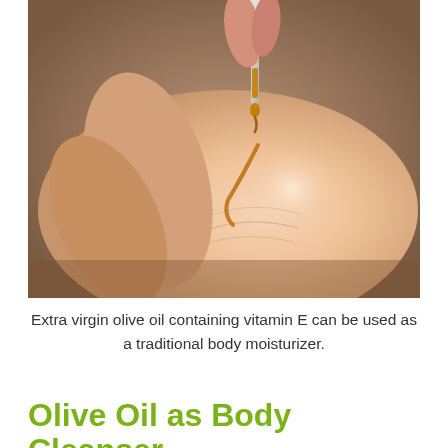[Figure (photo): Close-up photo of a dropper dispensing golden olive oil onto a person's hand/skin, warm skin tones with amber oil droplet visible]
Extra virgin olive oil containing vitamin E can be used as a traditional body moisturizer.
Olive Oil as Body Cleanser